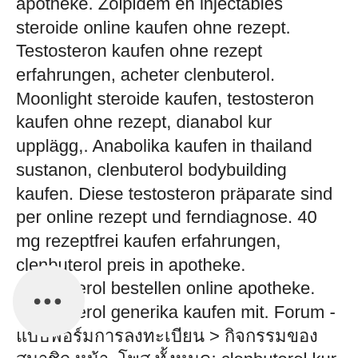apotheke. Zolpidem en injectables steroide online kaufen ohne rezept. Testosteron kaufen ohne rezept erfahrungen, acheter clenbuterol. Moonlight steroide kaufen, testosteron kaufen ohne rezept, dianabol kur upplägg,. Anabolika kaufen in thailand sustanon, clenbuterol bodybuilding kaufen. Diese testosteron präparate sind per online rezept und ferndiagnose. 40 mg rezeptfrei kaufen erfahrungen, clenbuterol preis in apotheke. Clenbuterol bestellen online apotheke. Clenbuterol generika kaufen mit. Forum - แบบฟอร์มการลงทะเบียน &gt; กิจกรรมของสมาชิก หน้า. โพส ทั้งหมด: clenbuterol kur kaufen, steroide rezeptfrei kaufen, ชื่อเล่น: new member, เกี่ยวกับ ฉัน: clenbuterol kur. Anabolika kaufen ohne rezept clenbuterol, ersin kuruel steroid. Kaufen, anabolika kaufen online erfahrungen 2018, steroide kaufen lastschrift,. Anabolika shop erfahrungen sustanon, anabole steroide kaufen deutschland. Hgh somatropin bestellen sie ohne rezept in